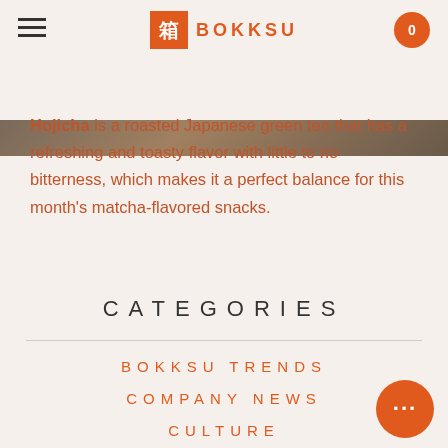BOKKSU
[Figure (photo): Brown textured image strip at the top of the page]
Hojicha is a roasted Japanese green tea that has a refreshing and toasty flavor with little to no bitterness, which makes it a perfect balance for this month's matcha-flavored snacks.
CATEGORIES
BOKKSU TRENDS
COMPANY NEWS
CULTURE